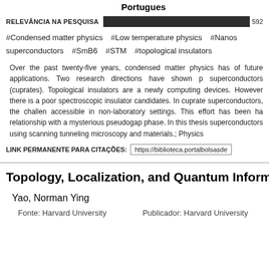Portugues
RELEVÂNCIA NA PESQUISA   592
#Condensed matter physics   #Low temperature physics   #Nanosuperconductors   #SmB6   #STM   #topological insulators
Over the past twenty-five years, condensed matter physics has of future applications. Two research directions have shown p superconductors (cuprates). Topological insulators are a newly computing devices. However there is a poor spectroscopic insulator candidates. In cuprate superconductors, the challen accessible in non-laboratory settings. This effort has been ha relationship with a mysterious pseudogap phase. In this thesis superconductors using scanning tunneling microscopy and materials.; Physics
LINK PERMANENTE PARA CITAÇÕES: https://biblioteca.portalbolsasde
Topology, Localization, and Quantum Informa
Yao, Norman Ying
Fonte: Harvard University   Publicador: Harvard University